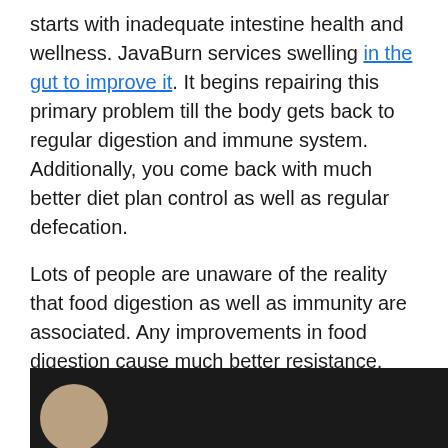starts with inadequate intestine health and wellness. JavaBurn services swelling in the gut to improve it. It begins repairing this primary problem till the body gets back to regular digestion and immune system. Additionally, you come back with much better diet plan control as well as regular defecation.
Lots of people are unaware of the reality that food digestion as well as immunity are associated. Any improvements in food digestion cause much better resistance. Some JavaBurn components work with cardio wellness, control blood pressure as well as sugar degrees to mend them.
[Figure (photo): Partial view of a dark background image, partially visible at bottom of page, showing a circular brownish shape on the left side.]